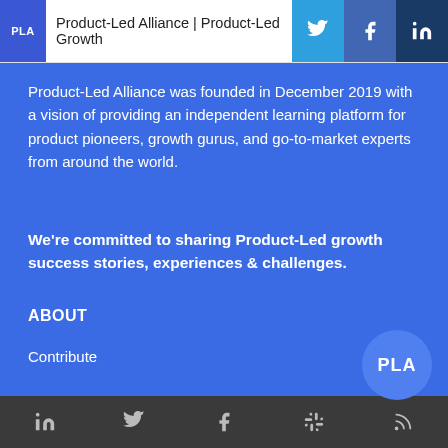Product-Led Alliance | Product-Led Growth
Product-Led Alliance was founded in December 2019 with a vision of providing an independent learning platform for product pioneers, growth gurus, and go-to-market experts from around the world.
We're committed to sharing Product-Led growth success stories, experiences & challenges.
ABOUT
Contribute